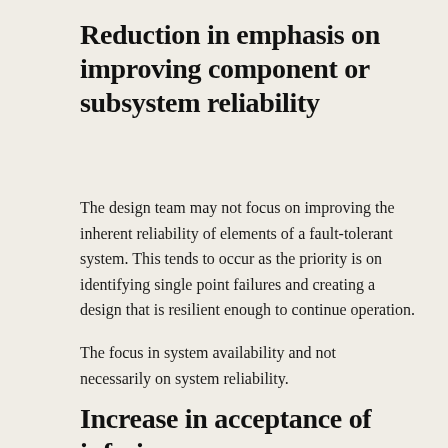Reduction in emphasis on improving component or subsystem reliability
The design team may not focus on improving the inherent reliability of elements of a fault-tolerant system. This tends to occur as the priority is on identifying single point failures and creating a design that is resilient enough to continue operation.
The focus in system availability and not necessarily on system reliability.
Increase in acceptance of inferior